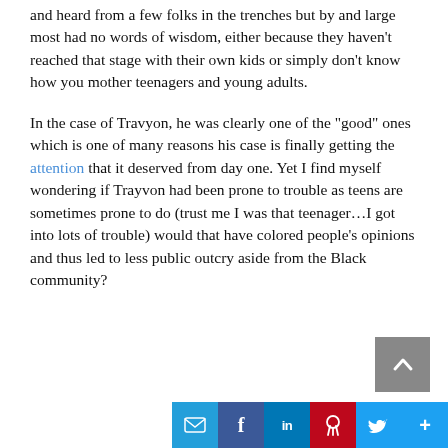and heard from a few folks in the trenches but by and large most had no words of wisdom, either because they haven't reached that stage with their own kids or simply don't know how you mother teenagers and young adults.
In the case of Travyon, he was clearly one of the "good" ones which is one of many reasons his case is finally getting the attention that it deserved from day one. Yet I find myself wondering if Trayvon had been prone to trouble as teens are sometimes prone to do (trust me I was that teenager…I got into lots of trouble) would that have colored people's opinions and thus led to less public outcry aside from the Black community?